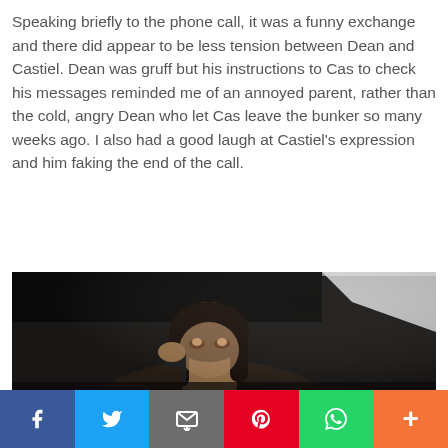Speaking briefly to the phone call, it was a funny exchange and there did appear to be less tension between Dean and Castiel. Dean was gruff but his instructions to Cas to check his messages reminded me of an annoyed parent, rather than the cold, angry Dean who let Cas leave the bunker so many weeks ago. I also had a good laugh at Castiel's expression and him faking the end of the call.
[Figure (photo): A dark-toned screenshot from a TV show (Supernatural) showing a man with long dark hair holding a phone to his ear, looking upward, with a bright light source visible in the upper right background.]